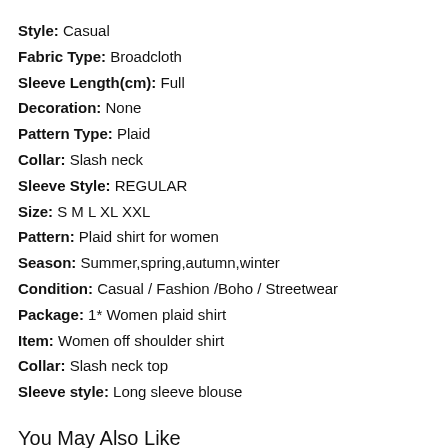Style: Casual
Fabric Type: Broadcloth
Sleeve Length(cm): Full
Decoration: None
Pattern Type: Plaid
Collar: Slash neck
Sleeve Style: REGULAR
Size: S M L XL XXL
Pattern: Plaid shirt for women
Season: Summer,spring,autumn,winter
Condition: Casual / Fashion /Boho / Streetwear
Package: 1* Women plaid shirt
Item: Women off shoulder shirt
Collar: Slash neck top
Sleeve style: Long sleeve blouse
You May Also Like